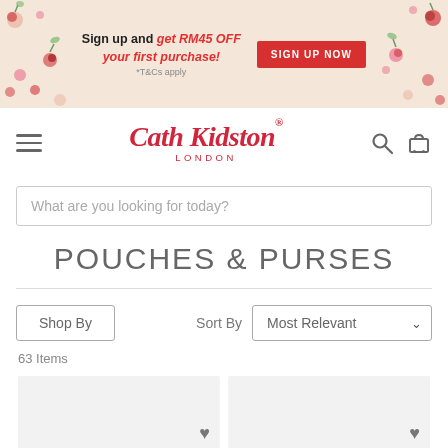[Figure (screenshot): Promotional banner with floral background pattern (pomegranate/cherry motif on cream), text 'Sign up and get RM45 OFF your first purchase! *T&Cs apply' with a red 'SIGN UP NOW' button]
[Figure (logo): Cath Kidston London logo in red cursive script with LONDON subtitle]
What are you looking for today?
POUCHES & PURSES
Shop By   Sort By   Most Relevant
63 Items